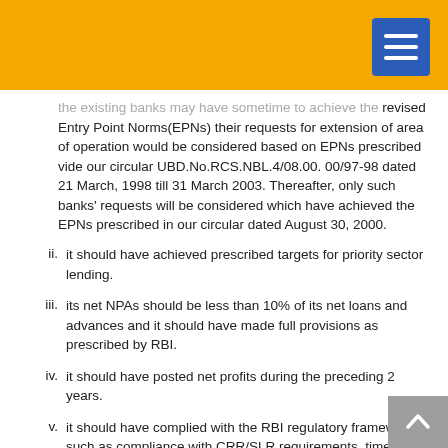the existing banks may have sometime to achieve the revised Entry Point Norms(EPNs) their requests for extension of area of operation would be considered based on EPNs prescribed vide our circular UBD.No.RCS.NBL.4/08.00. 00/97-98 dated 21 March, 1998 till 31 March 2003. Thereafter, only such banks' requests will be considered which have achieved the EPNs prescribed in our circular dated August 30, 2000.
ii. it should have achieved prescribed targets for priority sector lending.
iii. its net NPAs should be less than 10% of its net loans and advances and it should have made full provisions as prescribed by RBI.
iv. it should have posted net profits during the preceding 2 years.
v. it should have complied with the RBI regulatory framework, such as compliance with CRR/SLR requirements, timely submission of prescribed returns/statements and satisfactory compliance with RBI